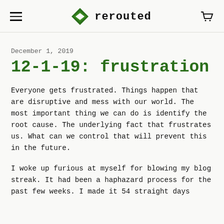rerouted
December 1, 2019
12-1-19: frustration
Everyone gets frustrated. Things happen that are disruptive and mess with our world. The most important thing we can do is identify the root cause. The underlying fact that frustrates us. What can we control that will prevent this in the future.
I woke up furious at myself for blowing my blog streak. It had been a haphazard process for the past few weeks. I made it 54 straight days without missing it, but Yesterday...